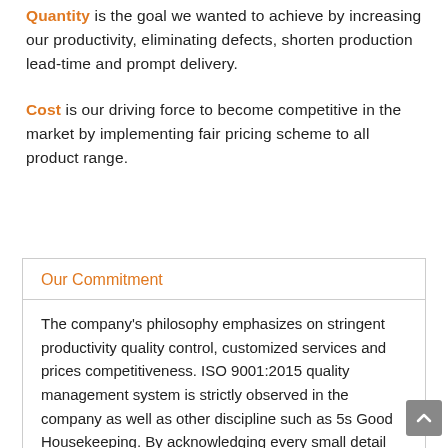Quantity is the goal we wanted to achieve by increasing our productivity, eliminating defects, shorten production lead-time and prompt delivery.
Cost is our driving force to become competitive in the market by implementing fair pricing scheme to all product range.
Our Commitment
The company's philosophy emphasizes on stringent productivity quality control, customized services and prices competitiveness. ISO 9001:2015 quality management system is strictly observed in the company as well as other discipline such as 5s Good Housekeeping. By acknowledging every small detail and catering to special request of our customers